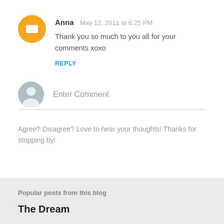Anna  May 12, 2011 at 6:25 PM
Thank you so much to you all for your comments xoxo
REPLY
[Figure (other): Generic user avatar for Enter Comment input field]
Enter Comment
Agree? Disagree? Love to hear your thoughts! Thanks for stopping by!
Popular posts from this blog
The Dream